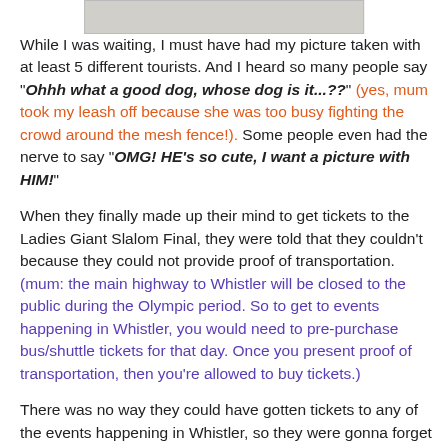[Figure (photo): Partial image visible at top of page, appears to be a photo of a dog]
While I was waiting, I must have had my picture taken with at least 5 different tourists. And I heard so many people say "Ohhh what a good dog, whose dog is it...??" (yes, mum took my leash off because she was too busy fighting the crowd around the mesh fence!). Some people even had the nerve to say "OMG! HE's so cute, I want a picture with HIM!"
When they finally made up their mind to get tickets to the Ladies Giant Slalom Final, they were told that they couldn't because they could not provide proof of transportation. (mum: the main highway to Whistler will be closed to the public during the Olympic period. So to get to events happening in Whistler, you would need to pre-purchase bus/shuttle tickets for that day. Once you present proof of transportation, then you're allowed to buy tickets.)
There was no way they could have gotten tickets to any of the events happening in Whistler, so they were gonna forget about it. But just before leaving, mum just HAD to ask about tickets to Figure Skating (even tho she has checked online...